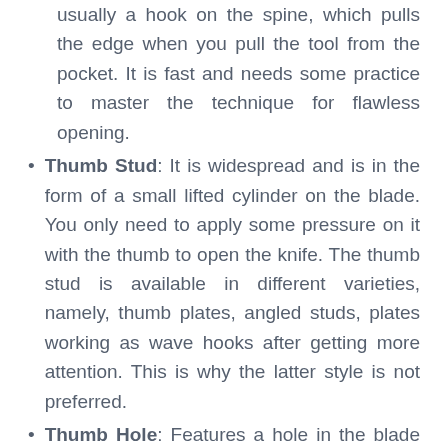usually a hook on the spine, which pulls the edge when you pull the tool from the pocket. It is fast and needs some practice to master the technique for flawless opening.
Thumb Stud: It is widespread and is in the form of a small lifted cylinder on the blade. You only need to apply some pressure on it with the thumb to open the knife. The thumb stud is available in different varieties, namely, thumb plates, angled studs, plates working as wave hooks after getting more attention. This is why the latter style is not preferred.
Thumb Hole: Features a hole in the blade so that the thumb can quickly push to open the blade. It is easy to use and simple. The main